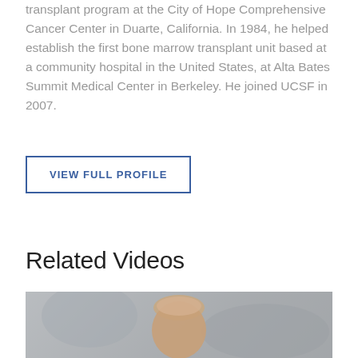transplant program at the City of Hope Comprehensive Cancer Center in Duarte, California. In 1984, he helped establish the first bone marrow transplant unit based at a community hospital in the United States, at Alta Bates Summit Medical Center in Berkeley. He joined UCSF in 2007.
VIEW FULL PROFILE
Related Videos
[Figure (photo): Headshot photo of a bald man, partially visible, with a blurred background showing an outdoor or indoor architectural setting.]